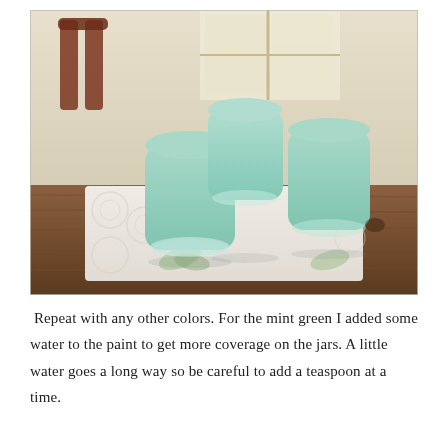[Figure (photo): Three mint green painted glass jars sitting upside down on a patterned paper towel on a wooden table. The jars are coated in mint green paint. A chair and window are visible in the background.]
Repeat with any other colors. For the mint green I added some water to the paint to get more coverage on the jars. A little water goes a long way so be careful to add a teaspoon at a time.